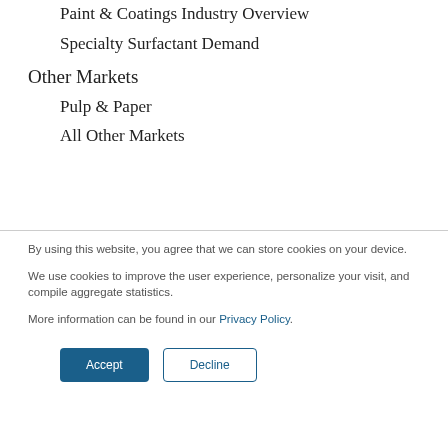Paint & Coatings Industry Overview
Specialty Surfactant Demand
Other Markets
Pulp & Paper
All Other Markets
By using this website, you agree that we can store cookies on your device.
We use cookies to improve the user experience, personalize your visit, and compile aggregate statistics.
More information can be found in our Privacy Policy.